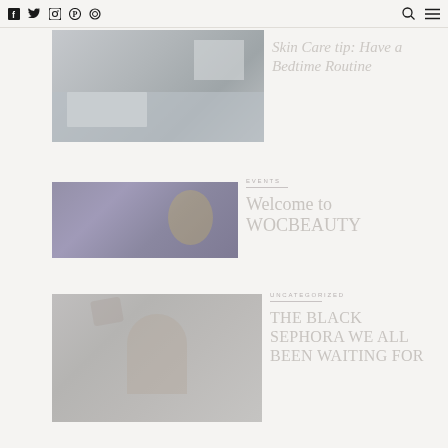Navigation bar with social icons (Facebook, Twitter, Instagram, Pinterest, other), search icon, and menu icon
[Figure (photo): Bedroom scene with grey bedding and pillows, partially cropped at top]
Skin Care tip: Have a Bedtime Routine
[Figure (photo): Portrait of a woman with gold makeup and jewelry against purple background]
EVENTS
Welcome to WOCBEAUTY
[Figure (photo): Portrait of a woman with closed eyes and hand near her head]
UNCATEGORIZED
THE BLACK SEPHORA WE ALL BEEN WAITING FOR